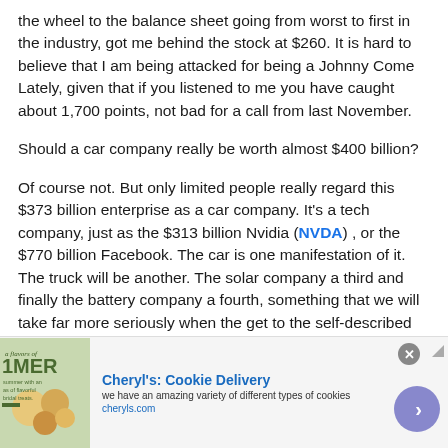the wheel to the balance sheet going from worst to first in the industry, got me behind the stock at $260. It is hard to believe that I am being attacked for being a Johnny Come Lately, given that if you listened to me you have caught about 1,700 points, not bad for a call from last November.
Should a car company really be worth almost $400 billion?
Of course not. But only limited people really regard this $373 billion enterprise as a car company. It's a tech company, just as the $313 billion Nvidia (NVDA) , or the $770 billion Facebook. The car is one manifestation of it. The truck will be another. The solar company a third and finally the battery company a fourth, something that we will take far more seriously when the get to the self-described Sept. 22 Battery Day.
[Figure (other): Advertisement banner for Cheryl's Cookie Delivery showing product image, brand name, tagline 'we have an amazing variety of different types of cookies', website cheryls.com, and a call-to-action arrow button]